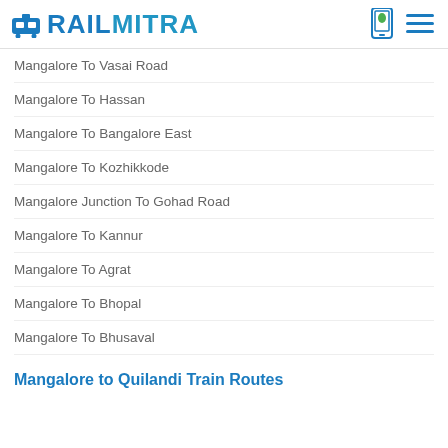RAILMITRA
Mangalore To Vasai Road
Mangalore To Hassan
Mangalore To Bangalore East
Mangalore To Kozhikkode
Mangalore Junction To Gohad Road
Mangalore To Kannur
Mangalore To Agrat
Mangalore To Bhopal
Mangalore To Bhusaval
Mangalore to Quilandi Train Routes